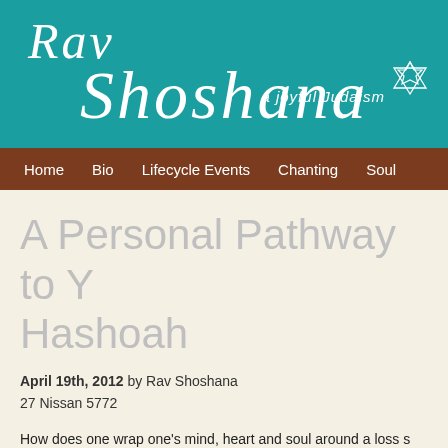[Figure (logo): Rav Shoshana website header logo with teal background, cursive white text reading 'Rav Shoshana', Star of David, and tagline 'a joyful Judaism']
Home   Bio   Lifecycle Events   Chanting   Soul
A Personal Pathway to Y... Hashoah
April 19th, 2012 by Rav Shoshana
27 Nissan 5772
How does one wrap one's mind, heart and soul around a loss so... minds, hearts and souls. Since the end of the horrors of the Ho... Yom Hoshoah- Holocaust Remembrance Day in 1951, various a... observe, remember, honor and mourn the loss of literally million...